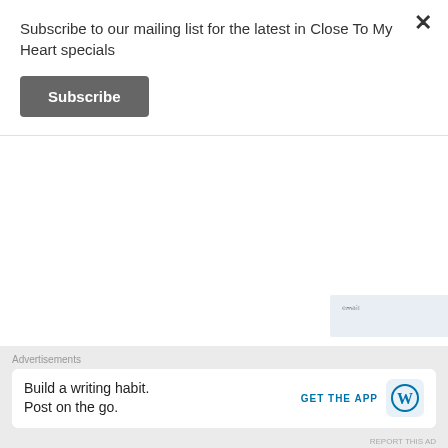Subscribe to our mailing list for the latest in Close To My Heart specials
Subscribe
Advertisements
AUTOMATTIC
Build a better web and a better world.
artymaz says:
January 10, 2022 at 7:48 am
Advertisements
Build a writing habit. Post on the go.
GET THE APP
REPORT THIS AD